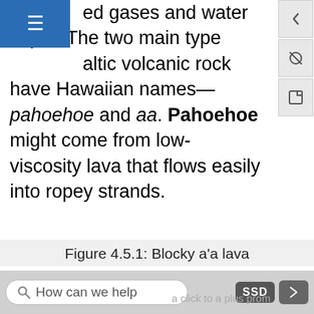ed gases and water vapor. The two main types of basaltic volcanic rock have Hawaiian names—pahoehoe and aa. Pahoehoe might come from low-viscosity lava that flows easily into ropey strands.
Figure 4.5.1: Blocky a'a lava